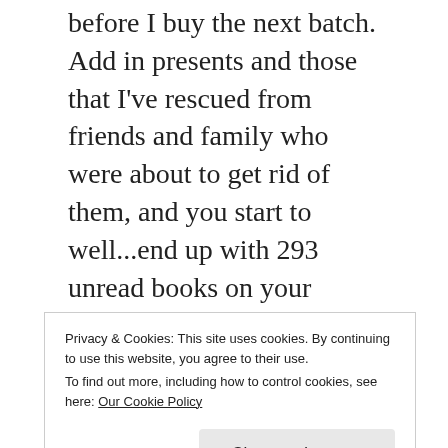before I buy the next batch. Add in presents and those that I've rescued from friends and family who were about to get rid of them, and you start to well...end up with 293 unread books on your bookshelves.
The Japanese apparently have a word for it: Tsundoku.
I don't seem to have the worst case of it. This BBC article references a forum that requires a
Privacy & Cookies: This site uses cookies. By continuing to use this website, you agree to their use.
To find out more, including how to control cookies, see here: Our Cookie Policy
years. Although this raises another issue: even